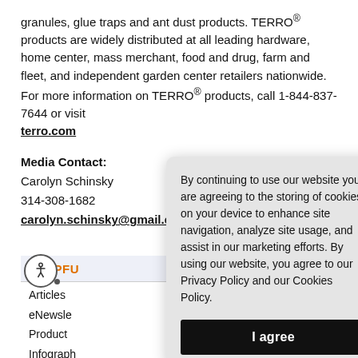granules, glue traps and ant dust products. TERRO® products are widely distributed at all leading hardware, home center, mass merchant, food and drug, farm and fleet, and independent garden center retailers nationwide. For more information on TERRO® products, call 1-844-837-7644 or visit terro.com
Media Contact:
Carolyn Schinsky
314-308-1682
carolyn.schinsky@gmail.com
HELPFU
Articles
eNewsle
Product
Infograph
t Li
Recomm
By continuing to use our website you are agreeing to the storing of cookies on your device to enhance site navigation, analyze site usage, and assist in our marketing efforts. By using our website, you agree to our Privacy Policy and our Cookies Policy.
I agree